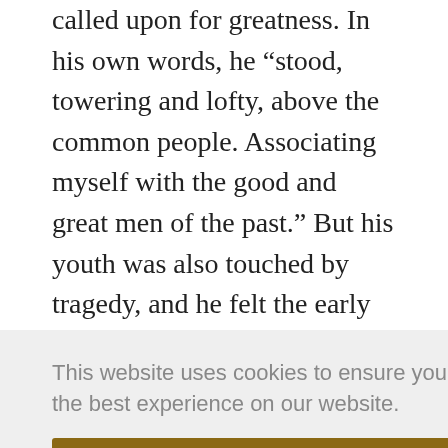called upon for greatness. In his own words, he “stood, towering and lofty, above the common people. Associating myself with the good and great men of the past.” But his youth was also touched by tragedy, and he felt the early death of his father and then his grandfather very keenly, which prompted him to engage in extended periods of Buddhist meditation and to study Buddhist mysticism, which was unusual for someone
This website uses cookies to ensure you get the best experience on our website.
Got it!
about how true fidelity to Confucian ideas meant